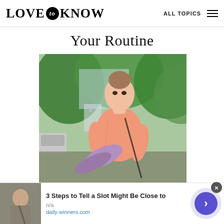LOVE to KNOW   ALL TOPICS
Your Routine
[Figure (photo): Young woman in a pink t-shirt carrying a purple yoga mat outdoors, with green trees in the background]
[Figure (photo): Ad banner: thumbnail of a person with a bag strap. Headline: 3 Steps to Tell a Slot Might Be Close to. Source: daily-winners.com]